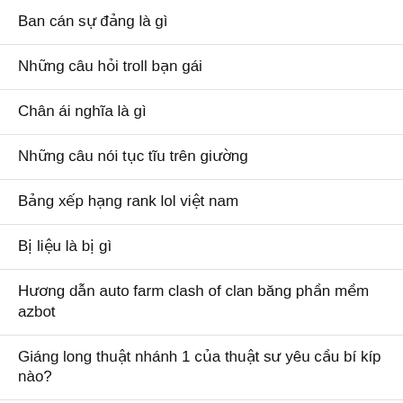Ban cán sự đảng là gì
Những câu hỏi troll bạn gái
Chân ái nghĩa là gì
Những câu nói tục tĩu trên giường
Bảng xếp hạng rank lol việt nam
Bị liệu là bị gì
Hương dẫn auto farm clash of clan băng phần mềm azbot
Giáng long thuật nhánh 1 của thuật sư yêu cầu bí kíp nào?